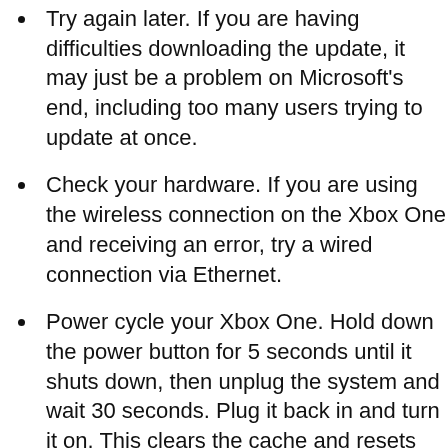Try again later. If you are having difficulties downloading the update, it may just be a problem on Microsoft's end, including too many users trying to update at once.
Check your hardware. If you are using the wireless connection on the Xbox One and receiving an error, try a wired connection via Ethernet.
Power cycle your Xbox One. Hold down the power button for 5 seconds until it shuts down, then unplug the system and wait 30 seconds. Plug it back in and turn it on. This clears the cache and resets the network card.
If you are getting a specific error message regarding updates or an online connection in